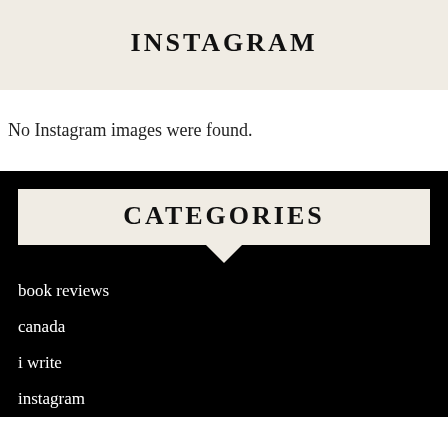INSTAGRAM
No Instagram images were found.
CATEGORIES
book reviews
canada
i write
instagram